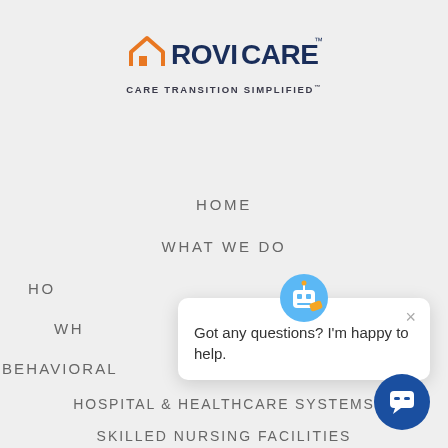[Figure (logo): RoviCare logo with orange house/chevron icon and dark blue text, with tagline CARE TRANSITION SIMPLIFIED]
HOME
WHAT WE DO
HO[W IT WORKS - partially obscured]
WH[AT WE DO - partially obscured]
BEHAVIORAL [partially obscured]
HOSPITAL & HEALTHCARE SYSTEMS
SKILLED NURSING FACILITIES
[Figure (screenshot): Chat popup widget with robot/bot icon, close X button, and text: Got any questions? I'm happy to help. Blue circular chat button in bottom right.]